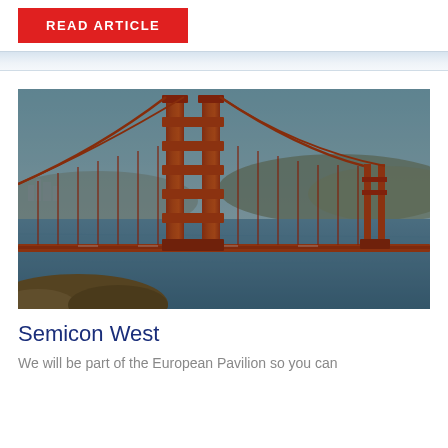READ ARTICLE
[Figure (photo): Photograph of the Golden Gate Bridge in San Francisco, viewed from a rocky shoreline. The large red-orange tower is prominent in the center-left, with suspension cables extending to the right where the second tower is visible in the distance. The bay water is blue-gray, with hills and city skyline in the background under a clear sky.]
Semicon West
We will be part of the European Pavilion so you can